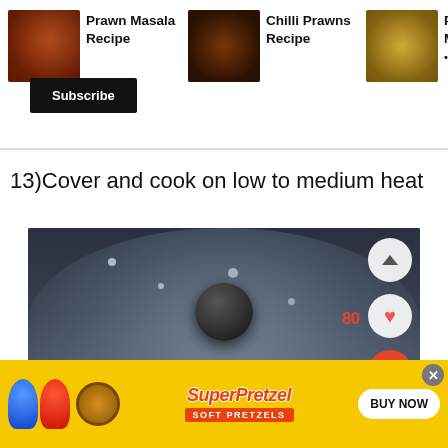[Figure (screenshot): Top navigation bar with food recipe thumbnails: Prawn Masala Recipe, Chilli Prawns Recipe, Prawn Chu Masala Re • Step By S]
Prawn Masala Recipe
Chilli Prawns Recipe
Prawn Chu Masala Re • Step By S
Subscribe
13)Cover and cook on low to medium heat
[Figure (photo): Photo of a covered pan/wok with a glass lid with steam condensation, showing cooking food underneath. UI overlay buttons on right: up chevron, heart (80), and orange search icon.]
[Figure (photo): Advertisement banner for SuperPretzel Soft Pretzels with cartoon characters, yellow background, BUY NOW button and close button.]